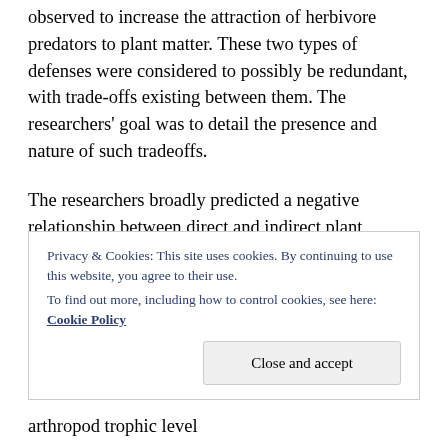observed to increase the attraction of herbivore predators to plant matter. These two types of defenses were considered to possibly be redundant, with trade-offs existing between them. The researchers' goal was to detail the presence and nature of such tradeoffs.
The researchers broadly predicted a negative relationship between direct and indirect plant defenses. A negative correlation between morphological complexity and indirect defenses was further predicted, and it was also postulated that there was a positive correlation between morphological complexity and
Privacy & Cookies: This site uses cookies. By continuing to use this website, you agree to their use.
To find out more, including how to control cookies, see here: Cookie Policy
arthropod trophic level